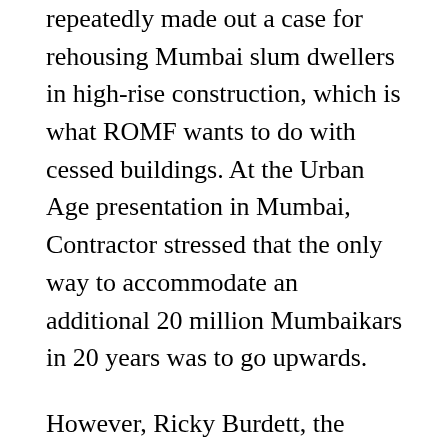repeatedly made out a case for rehousing Mumbai slum dwellers in high-rise construction, which is what ROMF wants to do with cessed buildings. At the Urban Age presentation in Mumbai, Contractor stressed that the only way to accommodate an additional 20 million Mumbaikars in 20 years was to go upwards.
However, Ricky Burdett, the Director of Urban Age, who also teaches at the London School of Economics, made no secret of his antipathy to Al Burj. "It is Disneyland of the worst sort," he said. "The best designs are being used for the worst purpose." Indeed, the UAE has the world's worst ecological footprint – an index of global area per